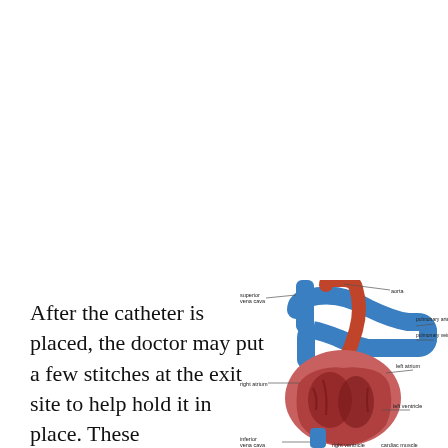After the catheter is placed, the doctor may put a few stitches at the exit site to help hold it in place. These
[Figure (illustration): Anatomical illustration of the human heart showing labeled structures including: superior vena cava, aorta, pulmonary artery, pulmonary vein, right atrium, left atrium, left ventricle, inferior vena cava, right ventricle, cardiac muscle. The heart is depicted in cross-section showing red cardiac chambers and blue major vessels.]